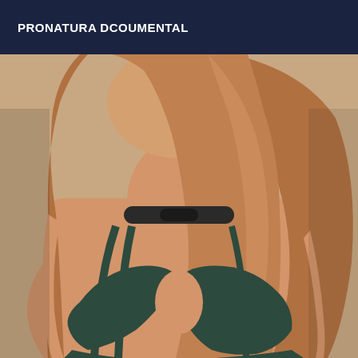PRONATURA DCOUMENTAL
[Figure (photo): Close-up photo of a young woman with long reddish-brown hair wearing a dark choker necklace and a dark bra/crop top, photographed from a slightly elevated angle against a warm beige background.]